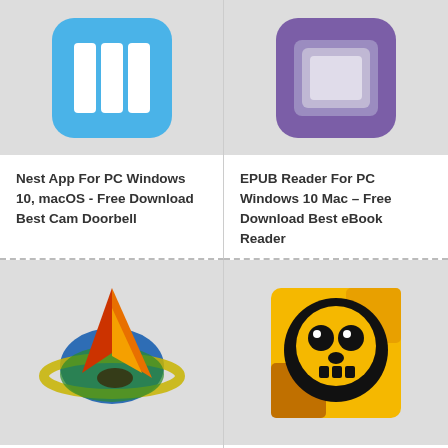[Figure (logo): Nest app icon - blue rounded square with white grid/bars symbol]
[Figure (logo): EPUB Reader app icon - purple rounded square with gray tablet/book symbol]
Nest App For PC Windows 10, macOS - Free Download Best Cam Doorbell
EPUB Reader For PC Windows 10 Mac – Free Download Best eBook Reader
[Figure (logo): Ultrasurf app icon - colorful planet with sailboat/sail shapes in orange, red, green, blue]
[Figure (logo): Brawl Stars app icon - yellow/orange background with black skull character]
Guide To Download Ultrasurf For PC Windows
Brawl Stars for PC Windows 10, Mac -Guide